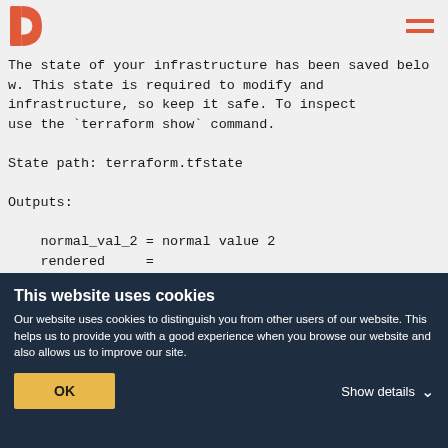OC [logo] [hamburger menu]
The state of your infrastructure has been saved below. This state is required to modify and destroy your infrastructure, so keep it safe. To inspect it, use the `terraform show` command.

State path: terraform.tfstate

Outputs:

    normal_val_2 = normal value 2
    rendered     =
msg1 = sensitive-value-1-AK#%DJGHS*G
msg2 = normal value 1
msg3 = sensitive-value-3-//dfhs//
This website uses cookies
Our website uses cookies to distinguish you from other users of our website. This helps us to provide you with a good experience when you browse our website and also allows us to improve our site.
OK
Show details